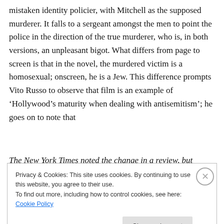mistaken identity policier, with Mitchell as the supposed murderer. It falls to a sergeant amongst the men to point the police in the direction of the true murderer, who is, in both versions, an unpleasant bigot. What differs from page to screen is that in the novel, the murdered victim is a homosexual; onscreen, he is a Jew. This difference prompts Vito Russo to observe that film is an example of ‘Hollywood’s maturity when dealing with antisemitism’; he goes on to note that
The New York Times noted the change in a review, but said only that the motivation for the murder had been
Privacy & Cookies: This site uses cookies. By continuing to use this website, you agree to their use.
To find out more, including how to control cookies, see here: Cookie Policy